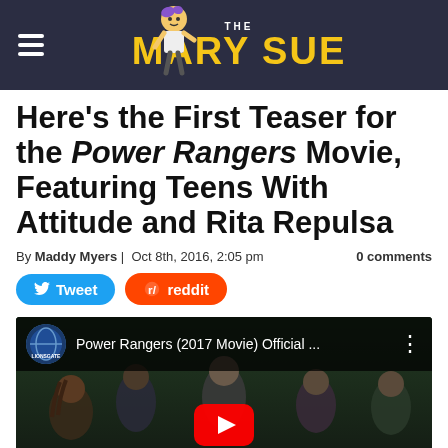THE MARY SUE
Here’s the First Teaser for the Power Rangers Movie, Featuring Teens With Attitude and Rita Repulsa
By Maddy Myers | Oct 8th, 2016, 2:05 pm   0 comments
Tweet   reddit
[Figure (screenshot): YouTube video embed showing Power Rangers (2017 Movie) Official teaser, with Lionsgate channel icon and movie scene showing five teens in a forest setting, with YouTube play button overlay]